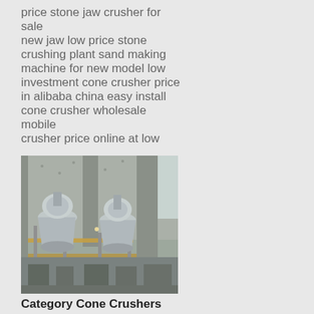price stone jaw crusher for sale new jaw low price stone crushing plant sand making machine for new model low investment cone crusher price in alibaba china easy install cone crusher wholesale mobile crusher price online at low
[Figure (photo): Industrial cone crusher machinery installed in a concrete building structure, showing two large cone-shaped crusher units mounted on metal scaffolding/frames, with concrete walls and columns visible in the background.]
Category Cone Crushers